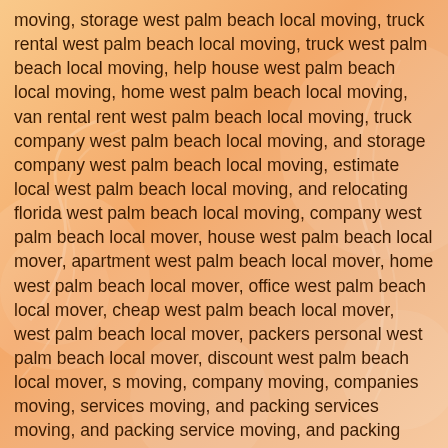moving, storage west palm beach local moving, truck rental west palm beach local moving, truck west palm beach local moving, help house west palm beach local moving, home west palm beach local moving, van rental rent west palm beach local moving, truck company west palm beach local moving, and storage company west palm beach local moving, estimate local west palm beach local moving, and relocating florida west palm beach local moving, company west palm beach local mover, house west palm beach local mover, apartment west palm beach local mover, home west palm beach local mover, office west palm beach local mover, cheap west palm beach local mover, west palm beach local mover, packers personal west palm beach local mover, discount west palm beach local mover, s moving, company moving, companies moving, services moving, and packing services moving, and packing service moving, and packing company moving, storage moving, moving, truck rental moving, truck moving, help house moving, home moving, van rental rent moving, truck company moving, and storage company moving, and relocating florida moving, company mover, house mover, apartment mover, home mover, office mover, cheap mover, mover, packers personal mover, discount mover, Boca Raton moving, Boynton Beach